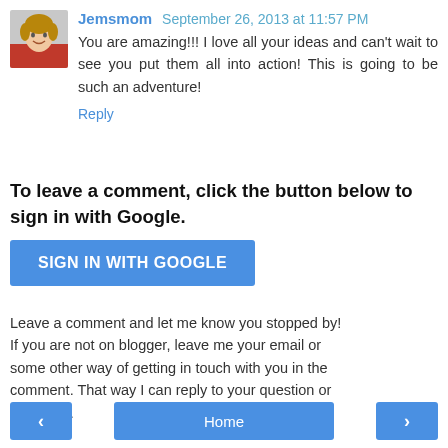Jemsmom  September 26, 2013 at 11:57 PM
You are amazing!!! I love all your ideas and can't wait to see you put them all into action! This is going to be such an adventure!
Reply
To leave a comment, click the button below to sign in with Google.
[Figure (other): Blue button labeled SIGN IN WITH GOOGLE]
Leave a comment and let me know you stopped by! If you are not on blogger, leave me your email or some other way of getting in touch with you in the comment. That way I can reply to your question or comment.
[Figure (other): Navigation bar with left arrow button, Home button, and right arrow button]